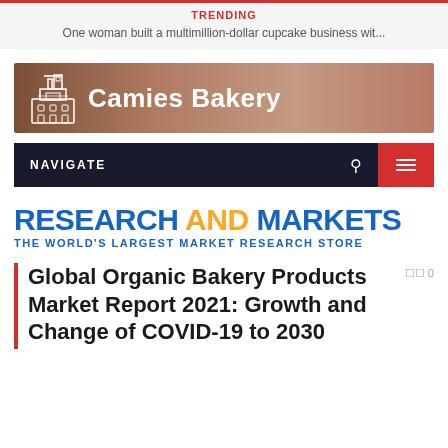TRENDING
One woman built a multimillion-dollar cupcake business wit...
[Figure (logo): Camies Bakery logo banner with bakery building icon on brown/copper gradient background]
[Figure (screenshot): Dark navigation bar with NAVIGATE label, search icon, and red hamburger menu button]
[Figure (logo): Research and Markets logo - RESEARCH AND MARKETS in blue and gold, THE WORLD'S LARGEST MARKET RESEARCH STORE subtitle in blue]
Global Organic Bakery Products Market Report 2021: Growth and Change of COVID-19 to 2030